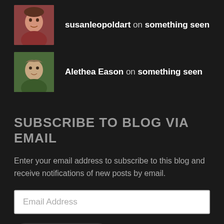susanleopoldart on something seen
Alethea Eason on something seen
SUBSCRIBE TO BLOG VIA EMAIL
Enter your email address to subscribe to this blog and receive notifications of new posts by email.
Email Address
SUBSCRIBE